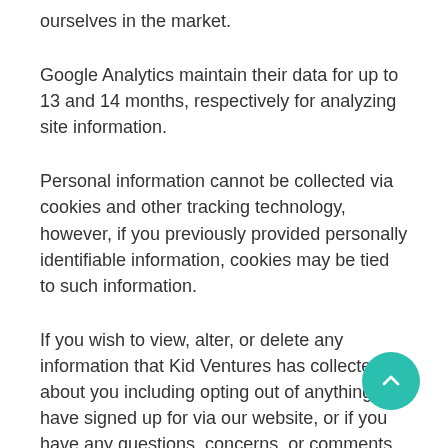ourselves in the market.
Google Analytics maintain their data for up to 13 and 14 months, respectively for analyzing site information.
Personal information cannot be collected via cookies and other tracking technology, however, if you previously provided personally identifiable information, cookies may be tied to such information.
If you wish to view, alter, or delete any information that Kid Ventures has collected about you including opting out of anything you have signed up for via our website, or if you have any questions, concerns, or comments about our privacy policy you may contact us using the information